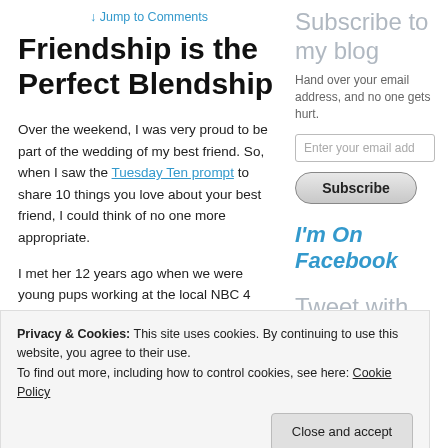↓ Jump to Comments
Friendship is the Perfect Blendship
Over the weekend, I was very proud to be part of the wedding of my best friend. So, when I saw the Tuesday Ten prompt to share 10 things you love about your best friend, I could think of no one more appropriate.
I met her 12 years ago when we were young pups working at the local NBC 4 station; she as
Subscribe to my blog
Hand over your email address, and no one gets hurt.
Enter your email add
Subscribe
I'm On Facebook
Tweet with
Privacy & Cookies: This site uses cookies. By continuing to use this website, you agree to their use.
To find out more, including how to control cookies, see here: Cookie Policy
Close and accept